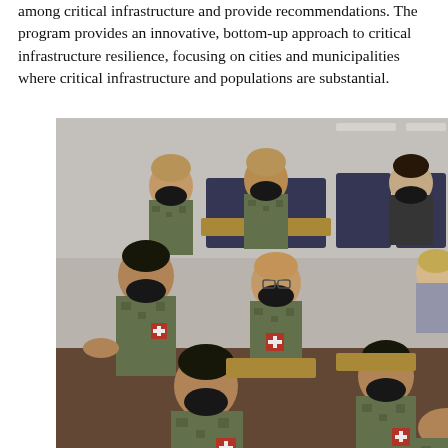among critical infrastructure and provide recommendations. The program provides an innovative, bottom-up approach to critical infrastructure resilience, focusing on cities and municipalities where critical infrastructure and populations are substantial.
[Figure (photo): Military personnel in camouflage uniforms and black face masks seated in a classroom setting, attending a lecture or briefing. Multiple soldiers are visible in rows of desk chairs.]